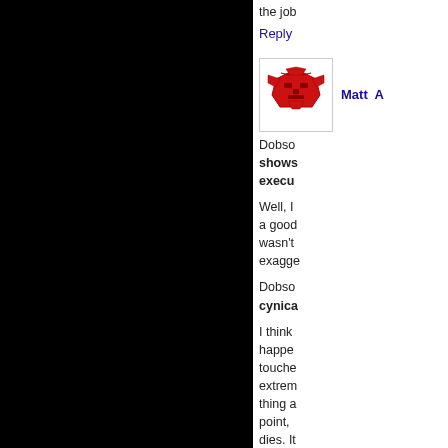the job
Reply
[Figure (logo): Autobot symbol (Transformers logo) in red on white background]
Matt A
Dobso shows execu
Well, I a good wasn't exagge
Dobso cynica
I think happen touche extrem thing a point, dies. It
Furthe